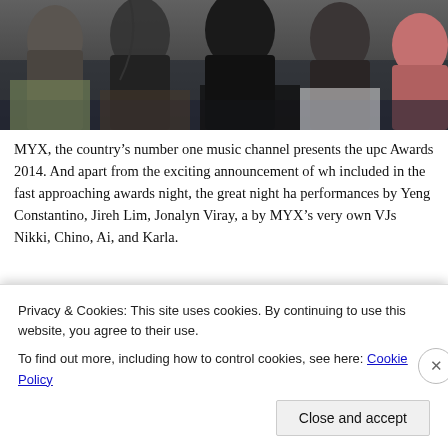[Figure (photo): Group of people seated in a dark venue, partial view cropped at top]
MYX, the country's number one music channel presents the upcoming MYX Music Awards 2014. And apart from the exciting announcement of who will be included in the fast approaching awards night, the great night had live performances by Yeng Constantino, Jireh Lim, Jonalyn Viray, and hosted by MYX's very own VJs Nikki, Chino, Ai, and Karla.
[Figure (photo): Dark venue interior with ceiling lights/dots and audience head silhouettes visible]
Privacy & Cookies: This site uses cookies. By continuing to use this website, you agree to their use.
To find out more, including how to control cookies, see here: Cookie Policy
Close and accept